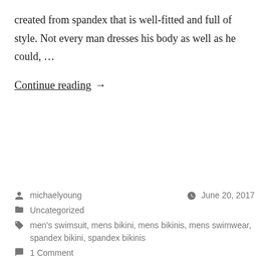created from spandex that is well-fitted and full of style. Not every man dresses his body as well as he could, …
Continue reading →
michaelyoung   June 20, 2017   Uncategorized   men's swimsuit, mens bikini, mens bikinis, mens swimwear, spandex bikini, spandex bikinis   1 Comment